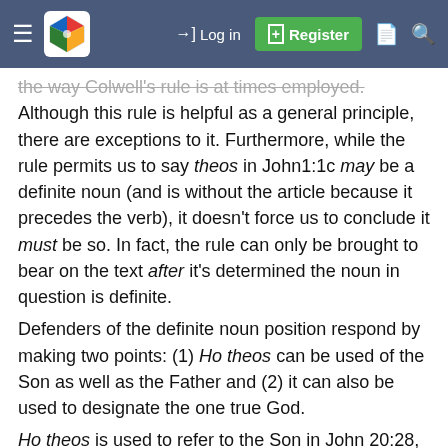Navigation bar with hamburger menu, logo, Log in, Register, and search icons
the way Colwell's rule is at times employed. Although this rule is helpful as a general principle, there are exceptions to it. Furthermore, while the rule permits us to say theos in John1:1c may be a definite noun (and is without the article because it precedes the verb), it doesn't force us to conclude it must be so. In fact, the rule can only be brought to bear on the text after it's determined the noun in question is definite.
Defenders of the definite noun position respond by making two points: (1) Ho theos can be used of the Son as well as the Father and (2) it can also be used to designate the one true God.
Ho theos is used to refer to the Son in John 20:28, where Thomas says to Jesus, “My Lord and my God.” (Literally, “The Lord of me and the God [ho theos] of me.”) It’s used of the true God (including the Son and not merely